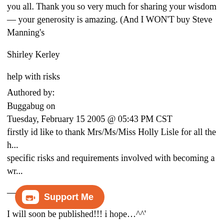you all. Thank you so very much for sharing your wisdom — your generosity is amazing. (And I WON'T buy Steve Manning's
Shirley Kerley
help with risks
Authored by:
Buggabug on
Tuesday, February 15 2005 @ 05:43 PM CST
firstly id like to thank Mrs/Ms/Miss Holly Lisle for all the h... specific risks and requirements involved with becoming a wr...
—
I will soon be published!!! i hope…^^'
Hello, Holly!
Authored by:
MattScudder on
W... 2005 @ 08:17 AM CST
T... your guestbook. Man, you have bee... here are pretty nuts too. School at Columbia is going great! I...
[Figure (other): Support Me button overlay with coffee cup icon]